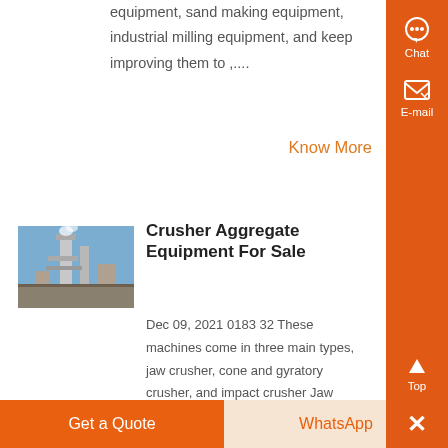equipment, sand making equipment, industrial milling equipment, and keep improving them to ,...
Know More
[Figure (photo): Industrial facility with equipment towers and machinery against a blue sky]
Crusher Aggregate Equipment For Sale
Dec 09, 2021 0183 32 These machines come in three main types, jaw crusher, cone and gyratory crusher, and impact crusher Jaw crushers, occasionally referred to as
Get a Quote
WhatsApp